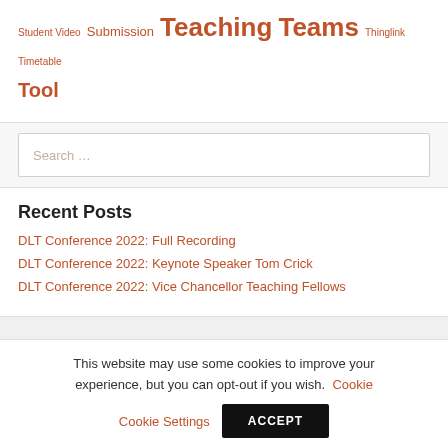Student Video  Submission  Teaching  Teams  Thinglink  Timetable  Tool
Search ...
Recent Posts
DLT Conference 2022: Full Recording
DLT Conference 2022: Keynote Speaker Tom Crick
DLT Conference 2022: Vice Chancellor Teaching Fellows
This website may use some cookies to improve your experience, but you can opt-out if you wish.  Cookie Settings  ACCEPT